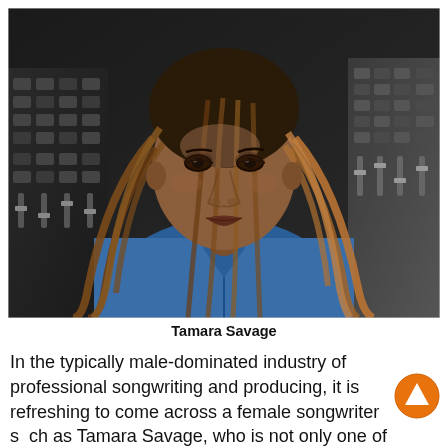[Figure (photo): Portrait photo of Tamara Savage, a woman with long braided hair wearing a blue zip-up jacket, seated in front of a recording studio mixing console. Photo is a professional headshot in black and white tones with some warm color.]
Tamara Savage
In the typically male-dominated industry of professional songwriting and producing, it is refreshing to come across a female songwriter such as Tamara Savage, who is not only one of the most successful R&B/Pop songwriters at present, but also